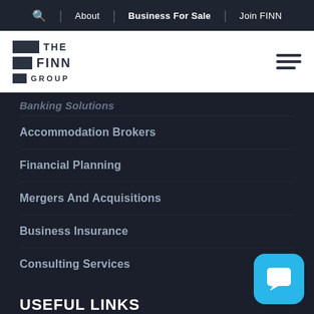🔍 | About | Business For Sale | Join FINN
[Figure (logo): The Finn Group logo with stacked dark rectangular blocks beside THE / FINN / GROUP text]
Banking Solutions (partial/truncated)
Accommodation Brokers
Financial Planning
Mergers And Acquisitions
Business Insurance
Consulting Services
USEFUL LINKS
[Figure (illustration): Blue rounded square chat/message button icon in bottom right corner]